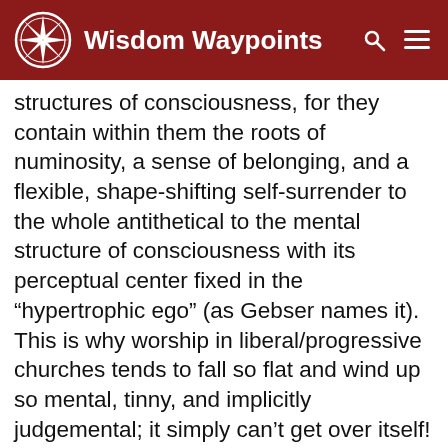Wisdom Waypoints
structures of consciousness, for they contain within them the roots of numinosity, a sense of belonging, and a flexible, shape-shifting self-surrender to the whole antithetical to the mental structure of consciousness with its perceptual center fixed in the “hypertrophic ego” (as Gebser names it). This is why worship in liberal/progressive churches tends to fall so flat and wind up so mental, tinny, and implicitly judgemental; it simply can’t get over itself! The “earlier” structures do indeed retain gifts without which it is impossible to proceed. And so does the mental structure, which, through its very ego strength, has a greater capacity to integrate, rather than simply be absorbed, into the numinosity. It, too, is essential. Everything belongs.
Reply